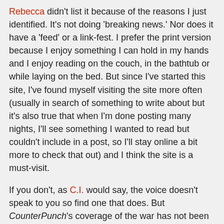Rebecca didn't list it because of the reasons I just identified. It's not doing 'breaking news.' Nor does it have a 'feed' or a link-fest. I prefer the print version because I enjoy something I can hold in my hands and I enjoy reading on the couch, in the bathtub or while laying on the bed. But since I've started this site, I've found myself visiting the site more often (usually in search of something to write about but it's also true that when I'm done posting many nights, I'll see something I wanted to read but couldn't include in a post, so I'll stay online a bit more to check that out) and I think the site is a must-visit.
If you don't, as C.I. would say, the voice doesn't speak to you so find one that does. But CounterPunch's coverage of the war has not been wanting. Nor has it ever gone a month without noting it. Not a lot of other publications can make that claim. Well, they could, but it would be greeted with laughter.
Please visit Mikey Likes It! for Mike's thoughts which will include an update on who is still not providing coverage of or links to coverage of the news that Ehren Watada is being